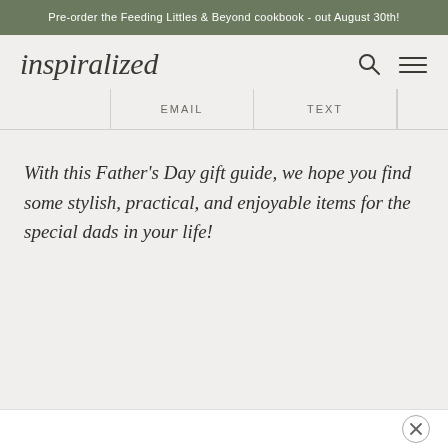Pre-order the Feeding Littles & Beyond cookbook - out August 30th!
[Figure (logo): Inspiralized blog logo in italic serif font]
EMAIL
TEXT
With this Father’s Day gift guide, we hope you find some stylish, practical, and enjoyable items for the special dads in your life!